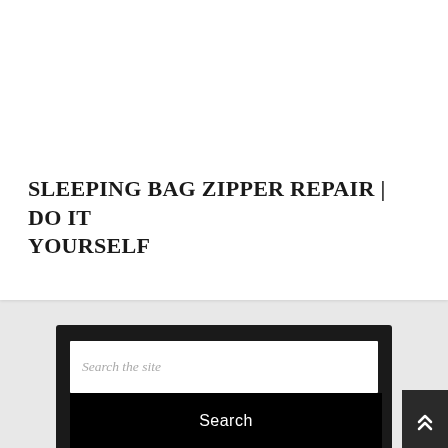SLEEPING BAG ZIPPER REPAIR | DO IT YOURSELF
Search the site
Search